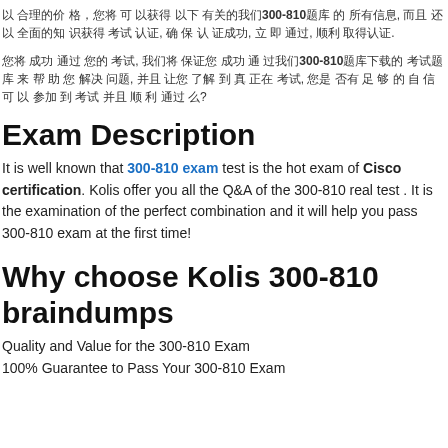以 合理的价 格，您将 可 以获得 以下 有关的我们300-810题库 的 所有信息, 而且 还 以 全面的知 识获得 考试 认证, 确 保 认 证成功, 立 即 通过, 顺利 取得认证.
您将 成功 通过 您的 考试, 我们将 保证您 成功 通 过我们300-810题库下载的 考试题库 来 帮 助 您 解决 问题, 并且 让您 了解 到 真 正在 考试, 您是 否有 足 够 的 自 信 可 以 参加 到 考试 并且 顺 利 通过 么?
Exam Description
It is well known that 300-810 exam test is the hot exam of Cisco certification. Kolis offer you all the Q&A of the 300-810 real test . It is the examination of the perfect combination and it will help you pass 300-810 exam at the first time!
Why choose Kolis 300-810 braindumps
Quality and Value for the 300-810 Exam
100% Guarantee to Pass Your 300-810 Exam